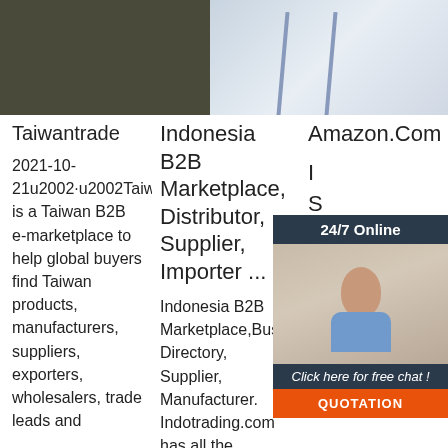[Figure (photo): Dark textured surface image on left, ladder/office furniture on right]
Taiwantrade
2021-10-21u2002·u2002Taiwantrade is a Taiwan B2B e-marketplace to help global buyers find Taiwan products, manufacturers, suppliers, exporters, wholesalers, trade leads and
Indonesia B2B Marketplace, Distributor, Supplier, Importer ...
Indonesia B2B Marketplace,Business Directory, Supplier, Manufacturer. Indotrading.com has all the information that
Amazon.Com
[Figure (screenshot): 24/7 Online chat widget with female agent photo and QUOTATION button]
S O C O F
(35015), Strong for Extended Use, Juto Roll, White, 1,100 Sheets